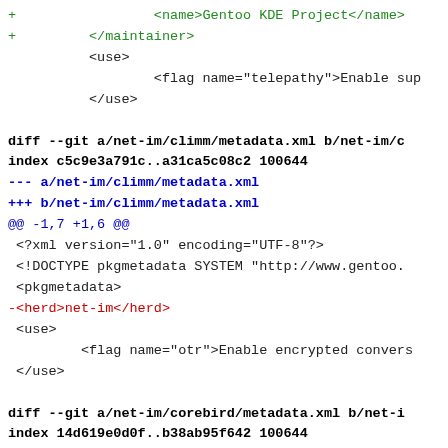+                 <name>Gentoo KDE Project</name>
+         </maintainer>
          <use>
                  <flag name="telepathy">Enable sup
          </use>

diff --git a/net-im/climm/metadata.xml b/net-im/c
index c5c9e3a791c..a31ca5c08c2 100644
--- a/net-im/climm/metadata.xml
+++ b/net-im/climm/metadata.xml
@@ -1,7 +1,6 @@
 <?xml version="1.0" encoding="UTF-8"?>
 <!DOCTYPE pkgmetadata SYSTEM "http://www.gentoo.
 <pkgmetadata>
-<herd>net-im</herd>
 <use>
         <flag name="otr">Enable encrypted convers
 </use>

diff --git a/net-im/corebird/metadata.xml b/net-i
index 14d619e0d0f..b38ab95f642 100644
--- a/net-im/corebird/metadata.xml